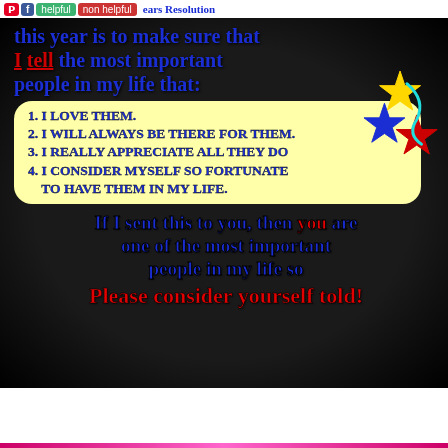Pinterest | Facebook | helpful | non helpful
[Figure (illustration): Motivational New Year's Resolution social media image on black background with colorful star decorations. Text in dark blue comic-style font on black background with a yellow bubble list area.]
My New Years Resolution this year is to make sure that I tell the most important people in my life that:
1. I LOVE THEM.
2. I WILL ALWAYS BE THERE FOR THEM.
3. I REALLY APPRECIATE ALL THEY DO
4. I CONSIDER MYSELF SO FORTUNATE TO HAVE THEM IN MY LIFE.
If I sent this to you, then you are one of the most important people in my life so
Please consider yourself told!